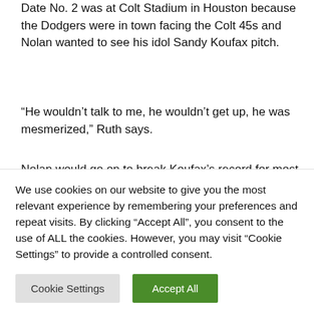Date No. 2 was at Colt Stadium in Houston because the Dodgers were in town facing the Colt 45s and Nolan wanted to see his idol Sandy Koufax pitch.
“He wouldn’t talk to me, he wouldn’t get up, he was mesmerized,” Ruth says.
Nolan would go on to break Koufax’s record for most no-hitters – Koufax held the mark at four, but Nolan went ahead and threw seven, for good measure – and became a legend of whom tall tales already are being told.
We use cookies on our website to give you the most relevant experience by remembering your preferences and repeat visits. By clicking “Accept All”, you consent to the use of ALL the cookies. However, you may visit “Cookie Settings” to provide a controlled consent.